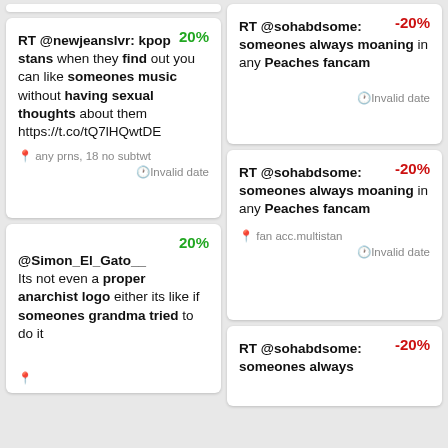20% RT @newjeanslvr: kpop stans when they find out you can like someones music without having sexual thoughts about them https://t.co/tQ7lHQwtDE any prns, 18 no subtwt Invalid date
-20% RT @sohabdsome: someones always moaning in any Peaches fancam Invalid date
20% @Simon_El_Gato__ Its not even a proper anarchist logo either its like if someones grandma tried to do it
-20% RT @sohabdsome: someones always moaning in any Peaches fancam fan acc.multistan Invalid date
-20% RT @sohabdsome: someones always